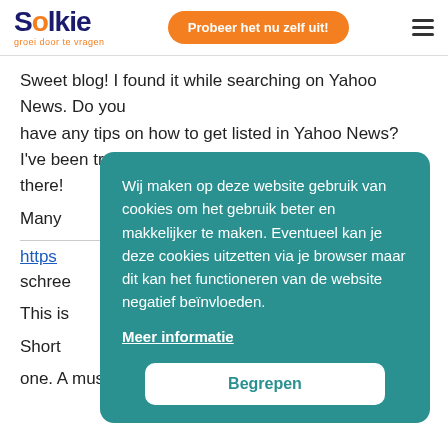Solkie – groei door te vragen | Probeer het nu zelf uit!
Sweet blog! I found it while searching on Yahoo News. Do you have any tips on how to get listed in Yahoo News? I've been trying for a while but I never seem to get there!
Many …
https… …40
schree…
This is…
Short…
one. A must read article!
[Figure (infographic): Cookie consent overlay on a teal background with Dutch text: 'Wij maken op deze website gebruik van cookies om het gebruik beter en makkelijker te maken. Eventueel kan je deze cookies uitzetten via je browser maar dit kan het functioneren van de website negatief beïnvloeden.' With a 'Meer informatie' underlined link and a 'Begrepen' white button.]